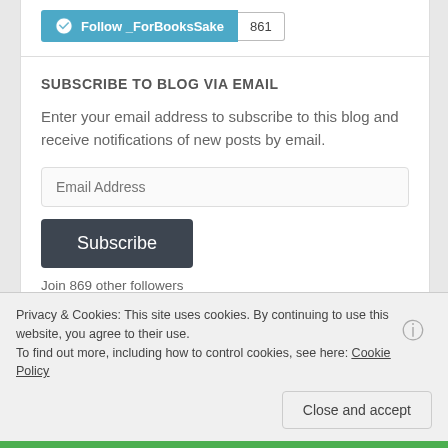[Figure (other): WordPress Follow button for _ForBooksSake with follower count 861]
SUBSCRIBE TO BLOG VIA EMAIL
Enter your email address to subscribe to this blog and receive notifications of new posts by email.
Join 869 other followers
Privacy & Cookies: This site uses cookies. By continuing to use this website, you agree to their use.
To find out more, including how to control cookies, see here: Cookie Policy